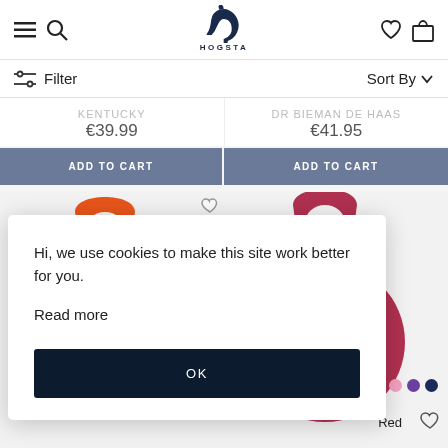HOGSTA - navigation header with menu, search, wishlist, cart icons
Filter   Sort By
KENTUCKY   €39.99
DR BIEMAN DE HAAS   €41.95
ADD TO CART
ADD TO CART
[Figure (photo): Orange horse ball toy with handle, partially visible]
[Figure (photo): Dark red/crimson horse ball toy (Jolly Ball) with handle, with color swatches (pink, purple, navy) and Red label below]
Hi, we use cookies to make this site work better for you.

Read more

OK